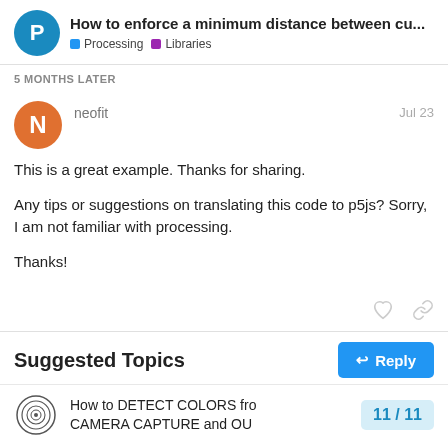How to enforce a minimum distance between cu... | Processing | Libraries
5 MONTHS LATER
neofit — Jul 23
This is a great example. Thanks for sharing.

Any tips or suggestions on translating this code to p5js? Sorry, I am not familiar with processing.

Thanks!
Suggested Topics
How to DETECT COLORS from CAMERA CAPTURE and OU — 11 / 11